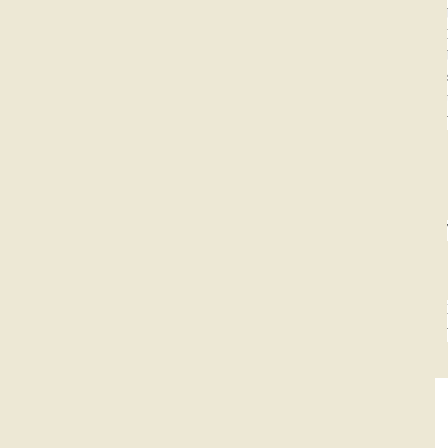business centres of the city like Bhadaur House and Mandi, sugarcane-juice sellers have already started business. However, health risks are increasing here sale of exposed sugarcane juice. Precautions have to preserve the purity of the juice and sugarcanes washed before these are crushed in a clean machine
The glasses in which the juice is served have to be
However, most roadside sugarcane-juice sellers are words.
Flies and other insects hover over carts of sugarcane rollers. Cholera and other water-borne diseases hit deaths had occurred in Sherpur, a migrant-dominated
Sugarcane-juice sellers are always short of fresh water use are often dirty.
The emissions from diesel engines fitted on sugarcane district health authorities should do something to re
| Punjab | Haryana | Jammu & Kashmir | Hi | Business | Sport | World | Mailbag | In S 50 years of Independen | 121 Years of Trust | Calendar | Weat